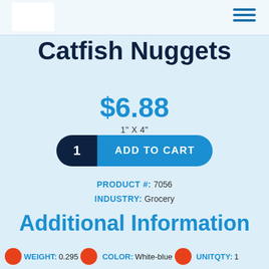Catfish Nuggets
$6.88
1" X 4"
1  ADD TO CART
PRODUCT #: 7056
INDUSTRY: Grocery
Additional Information
WEIGHT: 0.295  COLOR: White-blue  UNITQTY: 1